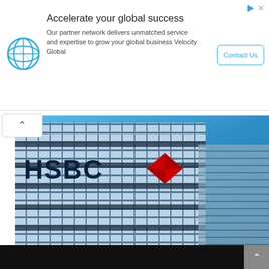[Figure (screenshot): Online advertisement banner: globe/network logo on left, headline 'Accelerate your global success', body text 'Our partner network delivers unmatched service and expertise to grow your global business Velocity Global', and a 'Contact Us' button on the right. Play and close icons top-right.]
[Figure (photo): Photograph of HSBC bank building exterior showing the HSBC logo (large dark blue letters 'HSBC' with red hexagon logo) on a glass curtain-wall skyscraper against a blue sky. Overlay badge at bottom-left reads 'LATEST NEWS'.]
HSBC allocates $1.26bn for Scottish firms